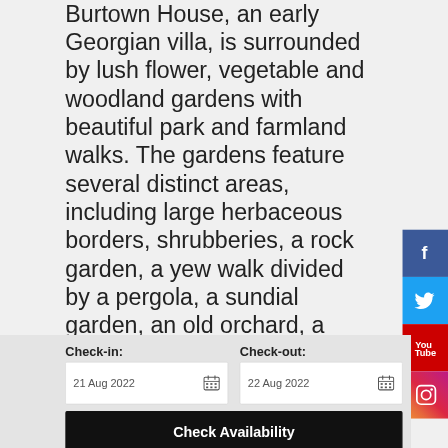Burtown House, an early Georgian villa, is surrounded by lush flower, vegetable and woodland gardens with beautiful park and farmland walks. The gardens feature several distinct areas, including large herbaceous borders, shrubberies, a rock garden, a yew walk divided by a pergola, a sundial garden, an old orchard, a more formal stable yard garden, a walled organic vegetable garden and a large woodland garden surrounded on
Check-in: 21 Aug 2022
Check-out: 22 Aug 2022
Check Availability